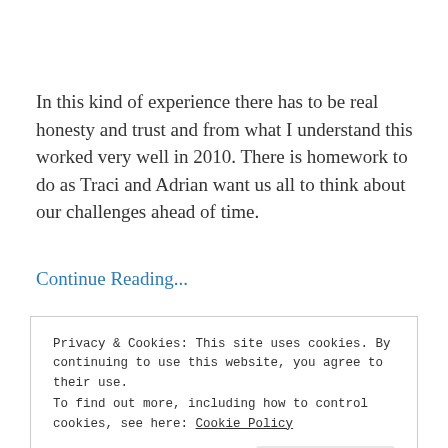In this kind of experience there has to be real honesty and trust and from what I understand this worked very well in 2010. There is homework to do as Traci and Adrian want us all to think about our challenges ahead of time.
Continue Reading...
Privacy & Cookies: This site uses cookies. By continuing to use this website, you agree to their use.
To find out more, including how to control cookies, see here: Cookie Policy
Close and accept